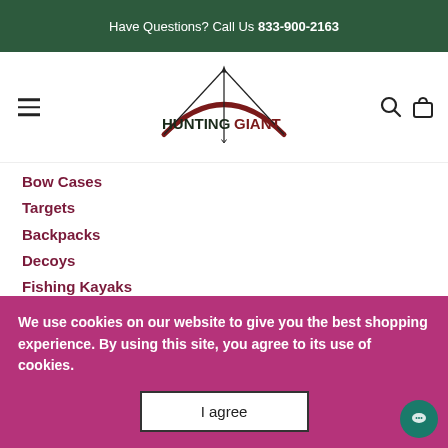Have Questions? Call Us 833-900-2163
[Figure (logo): HuntingGiant logo with bow and arrow graphic]
Bow Cases
Targets
Backpacks
Decoys
Fishing Kayaks
Gift Cards
We use cookies on our website to give you the best shopping experience. By using this site, you agree to its use of cookies.
I agree